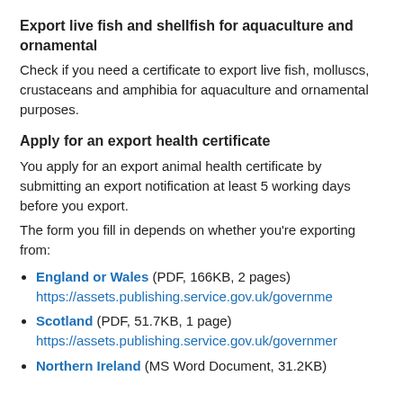Export live fish and shellfish for aquaculture and ornamental
Check if you need a certificate to export live fish, molluscs, crustaceans and amphibia for aquaculture and ornamental purposes.
Apply for an export health certificate
You apply for an export animal health certificate by submitting an export notification at least 5 working days before you export.
The form you fill in depends on whether you're exporting from:
England or Wales (PDF, 166KB, 2 pages) https://assets.publishing.service.gov.uk/governme...
Scotland (PDF, 51.7KB, 1 page) https://assets.publishing.service.gov.uk/governmer...
Northern Ireland (MS Word Document, 31.2KB)